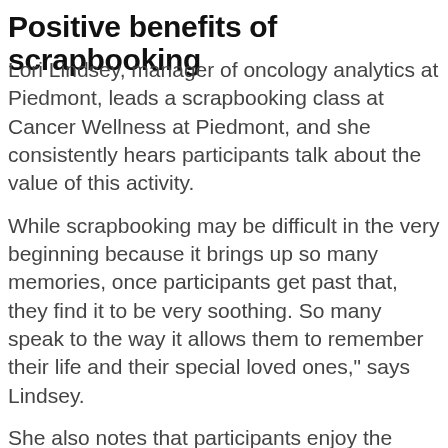Positive benefits of scrapbooking
Lori Lindsey, manager of oncology analytics at Piedmont, leads a scrapbooking class at Cancer Wellness at Piedmont, and she consistently hears participants talk about the value of this activity.
While scrapbooking may be difficult in the very beginning because it brings up so many memories, once participants get past that, they find it to be very soothing. So many speak to the way it allows them to remember their life and their special loved ones," says Lindsey.
She also notes that participants enjoy the creative process. Using glue, cutting out shapes, painting and coloring all have a way of making people feel young again. Sharing the finished product with others is...